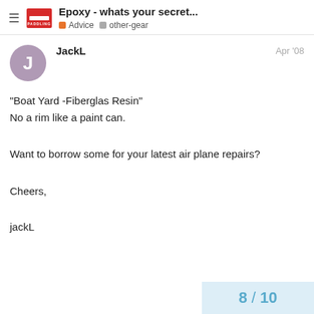Epoxy - whats your secret... | Advice | other-gear
JackL — Apr '08
"Boat Yard -Fiberglas Resin"
No a rim like a paint can.
Want to borrow some for your latest air plane repairs?
Cheers,

jackL
8 / 10